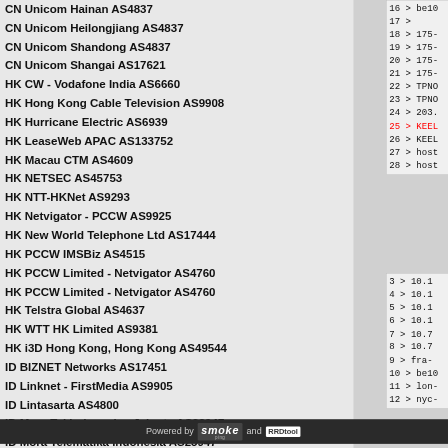CN Unicom Hainan AS4837
CN Unicom Heilongjiang AS4837
CN Unicom Shandong AS4837
CN Unicom Shangai AS17621
HK CW - Vodafone India AS6660
HK Hong Kong Cable Television AS9908
HK Hurricane Electric AS6939
HK LeaseWeb APAC AS133752
HK Macau CTM AS4609
HK NETSEC AS45753
HK NTT-HKNet AS9293
HK Netvigator - PCCW AS9925
HK New World Telephone Ltd AS17444
HK PCCW IMSBiz AS4515
HK PCCW Limited - Netvigator AS4760
HK PCCW Limited - Netvigator AS4760
HK Telstra Global AS4637
HK WTT HK Limited AS9381
HK i3D Hong Kong, Hong Kong AS49544
ID BIZNET Networks AS17451
ID Linknet - FirstMedia AS9905
ID Lintasarta AS4800
ID Mora Tel Indonesia - Jakarta AS23947
ID Mora Telematika Indonesia AS23947
ID MyRepublic Indonesia AS63859
ID NTT Indonesia AS10217
16 > be10
17 >
18 > 175-
19 > 175-
20 > 175-
21 > 175-
22 > TPNO
23 > TPNO
24 > 203.
25 > KEEL
26 > KEEL
27 > host
28 > host
3 > 10.1
4 > 10.1
5 > 10.1
6 > 10.1
7 > 10.7
8 > 10.7
9 > fra-
10 > be10
11 > lon-
12 > nyc-
Powered by smoke and RRDtool